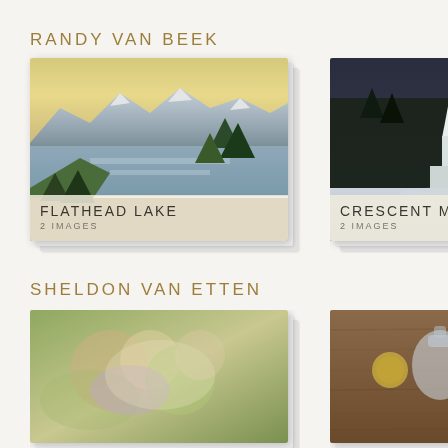RANDY VAN BEEK
[Figure (photo): Stacked card thumbnails showing Flathead Lake mountain landscape painting, labeled FLATHEAD LAKE / 2 IMAGES]
[Figure (photo): Stacked card thumbnails showing Crescent Moon winter village painting, labeled CRESCENT MOON / 2 IMAGES]
SHELDON VAN ETTEN
[Figure (photo): Stacked card thumbnails showing abstract floral/nature painting]
[Figure (photo): Stacked card thumbnails showing still life with glass flask and wood background]